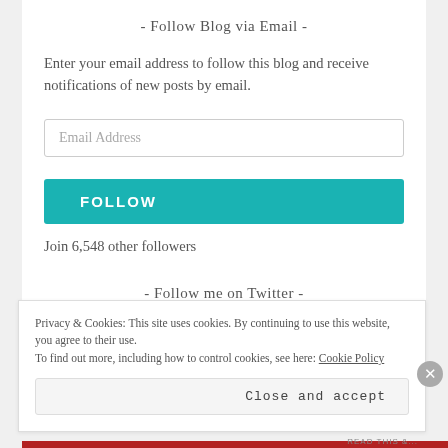- Follow Blog via Email -
Enter your email address to follow this blog and receive notifications of new posts by email.
Email Address
FOLLOW
Join 6,548 other followers
- Follow me on Twitter -
Privacy & Cookies: This site uses cookies. By continuing to use this website, you agree to their use. To find out more, including how to control cookies, see here: Cookie Policy
Close and accept